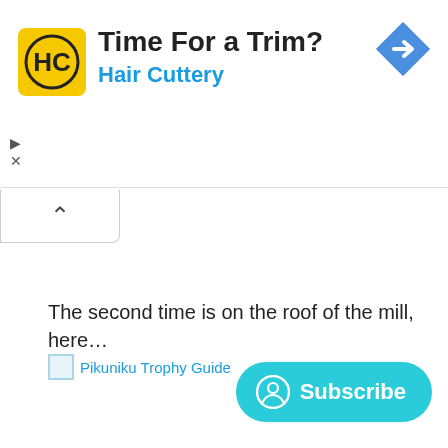[Figure (infographic): Hair Cuttery advertisement banner with yellow logo showing HC in a circle, text 'Time For a Trim?' and 'Hair Cuttery' in blue, and a blue diamond navigation arrow icon on the right. Small ad controls (play triangle and X) at bottom left.]
[Figure (screenshot): Collapse/minimize button showing an upward caret (^) inside a white bordered box.]
The second time is on the roof of the mill, here…
[Figure (photo): Broken image placeholder labeled 'Pikuniku Trophy Guide']
[Figure (other): Teal Subscribe button with user/profile circle icon and 'Subscribe' text]